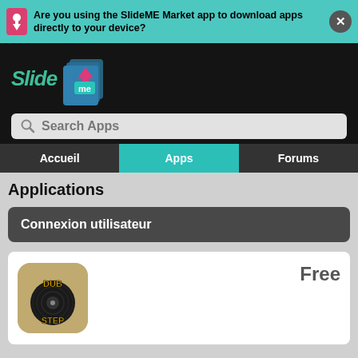Are you using the SlideME Market app to download apps directly to your device?
[Figure (screenshot): SlideME logo with pink arrow and teal 'me' badge]
Search Apps
Accueil
Apps
Forums
Applications
Connexion utilisateur
Free
[Figure (illustration): Dubstep app icon showing vinyl record with yellow DUB STEP text on dark background]